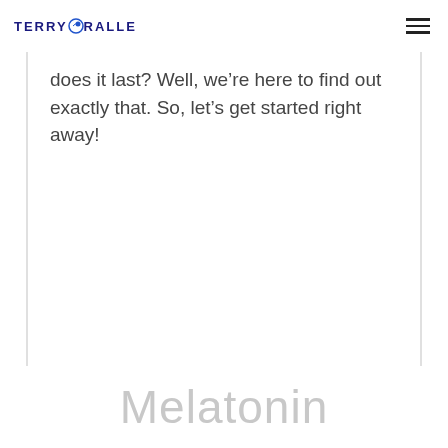TERRYCRALLE
does it last? Well, we’re here to find out exactly that. So, let’s get started right away!
Melatonin